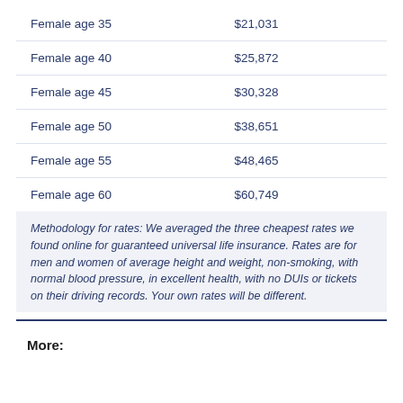| Category | Rate |
| --- | --- |
| Female age 35 | $21,031 |
| Female age 40 | $25,872 |
| Female age 45 | $30,328 |
| Female age 50 | $38,651 |
| Female age 55 | $48,465 |
| Female age 60 | $60,749 |
Methodology for rates: We averaged the three cheapest rates we found online for guaranteed universal life insurance. Rates are for men and women of average height and weight, non-smoking, with normal blood pressure, in excellent health, with no DUIs or tickets on their driving records. Your own rates will be different.
More: